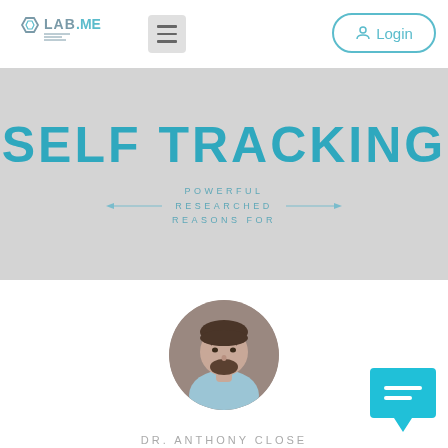[Figure (logo): LAB.ME logo with hexagon icon in teal/gray colors]
[Figure (illustration): Hamburger menu icon (three horizontal lines) in gray square]
[Figure (illustration): Login button with user icon and teal border, rounded pill shape]
[Figure (infographic): Hero banner with gray background. Large teal bold text: SELF TRACKING. Below: decorative lines with arrows and smaller teal text: POWERFUL RESEARCHED REASONS FOR]
[Figure (photo): Circular headshot photo of a man with dark hair and beard, wearing light blue shirt]
[Figure (illustration): Teal chat bubble icon with two horizontal lines, positioned bottom right]
DR. ANTHONY CLOSE